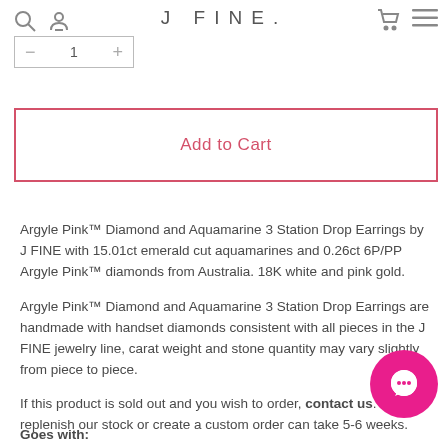J FINE.
Add to Cart
Argyle Pink™ Diamond and Aquamarine 3 Station Drop Earrings by J FINE with 15.01ct emerald cut aquamarines and 0.26ct 6P/PP Argyle Pink™ diamonds from Australia. 18K white and pink gold.
Argyle Pink™ Diamond and Aquamarine 3 Station Drop Earrings are handmade with handset diamonds consistent with all pieces in the J FINE jewelry line, carat weight and stone quantity may vary slightly from piece to piece.
If this product is sold out and you wish to order, contact us. To replenish our stock or create a custom order can take 5-6 weeks.
Goes with: